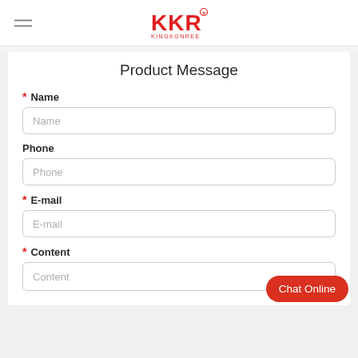KKR KINGKONREE
Product Message
* Name
Name (placeholder)
Phone
Phone (placeholder)
* E-mail
E-mail (placeholder)
* Content
Content (placeholder)
Chat Online